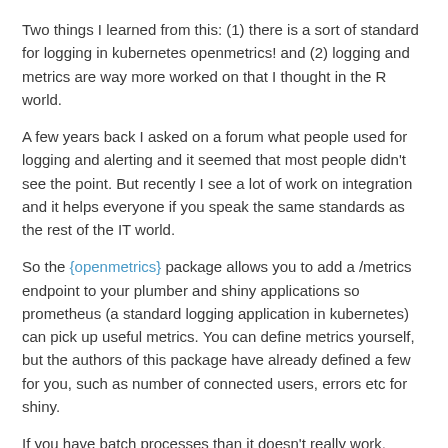Two things I learned from this: (1) there is a sort of standard for logging in kubernetes openmetrics! and (2) logging and metrics are way more worked on that I thought in the R world.
A few years back I asked on a forum what people used for logging and alerting and it seemed that most people didn't see the point. But recently I see a lot of work on integration and it helps everyone if you speak the same standards as the rest of the IT world.
So the {openmetrics} package allows you to add a /metrics endpoint to your plumber and shiny applications so prometheus (a standard logging application in kubernetes) can pick up useful metrics. You can define metrics yourself, but the authors of this package have already defined a few for you, such as number of connected users, errors etc for shiny.
If you have batch processes than it doesn't really work, (prometheus polls machines periodically and so your host needs to be up long enough to get pinged) but there is also a oush based gateway for that.
Noteworthy packages:
{openmetrics}